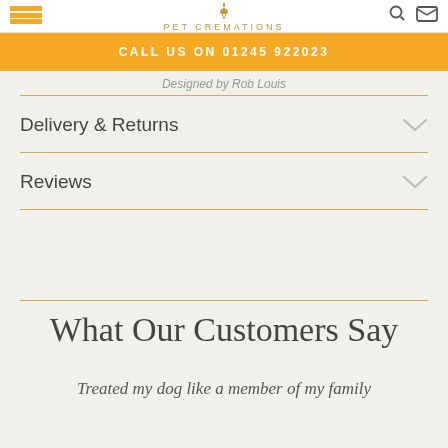PET CREMATIONS — CALL US ON 01245 922023
Designed by Rob Louis
Delivery & Returns
Reviews
What Our Customers Say
Treated my dog like a member of my family